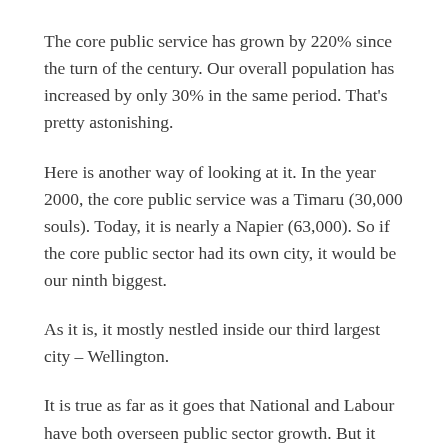The core public service has grown by 220% since the turn of the century. Our overall population has increased by only 30% in the same period. That's pretty astonishing.
Here is another way of looking at it. In the year 2000, the core public service was a Timaru (30,000 souls). Today, it is nearly a Napier (63,000). So if the core public sector had its own city, it would be our ninth biggest.
As it is, it mostly nestled inside our third largest city – Wellington.
It is true as far as it goes that National and Labour have both overseen public sector growth. But it does not go all that far. Of the increase above, less than 10%